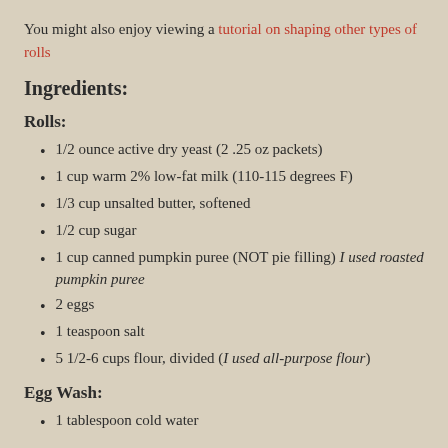You might also enjoy viewing a tutorial on shaping other types of rolls
Ingredients:
Rolls:
1/2 ounce active dry yeast (2 .25 oz packets)
1 cup warm 2% low-fat milk (110-115 degrees F)
1/3 cup unsalted butter, softened
1/2 cup sugar
1 cup canned pumpkin puree (NOT pie filling) I used roasted pumpkin puree
2 eggs
1 teaspoon salt
5 1/2-6 cups flour, divided (I used all-purpose flour)
Egg Wash:
1 tablespoon cold water